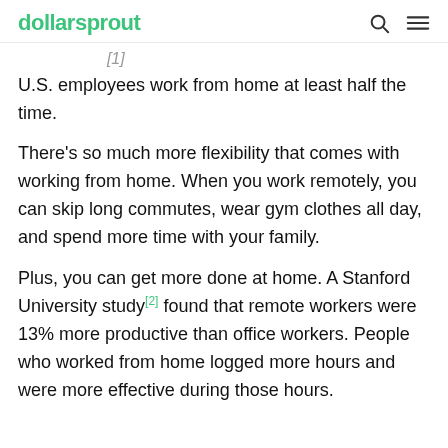dollarsprout
U.S. employees work from home at least half the time.
There's so much more flexibility that comes with working from home. When you work remotely, you can skip long commutes, wear gym clothes all day, and spend more time with your family.
Plus, you can get more done at home. A Stanford University study[2] found that remote workers were 13% more productive than office workers. People who worked from home logged more hours and were more effective during those hours.